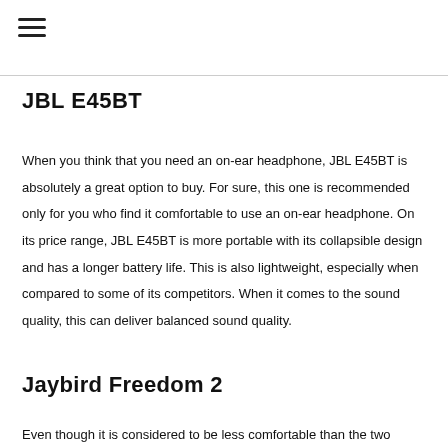☰
JBL E45BT
When you think that you need an on-ear headphone, JBL E45BT is absolutely a great option to buy. For sure, this one is recommended only for you who find it comfortable to use an on-ear headphone. On its price range, JBL E45BT is more portable with its collapsible design and has a longer battery life. This is also lightweight, especially when compared to some of its competitors. When it comes to the sound quality, this can deliver balanced sound quality.
Jaybird Freedom 2
Even though it is considered to be less comfortable than the two